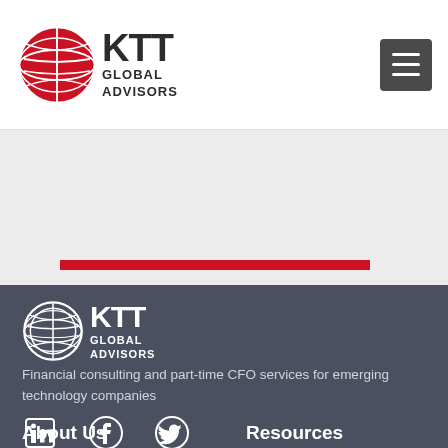[Figure (logo): KTT Global Advisors logo with globe icon in red and KTT text in dark grey with GLOBAL ADVISORS subtitle]
[Figure (other): Hamburger menu icon button]
[Figure (logo): KTT Global Advisors footer logo white version with globe icon]
Financial consulting and part-time CFO services for emerging technology companies
[Figure (other): Social media icons: LinkedIn, Facebook, Twitter]
About Us
Resources